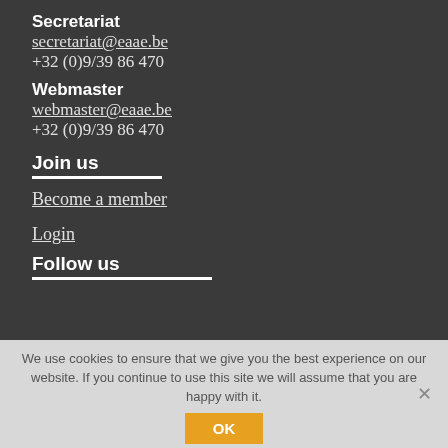Secretariat
secretariat@eaae.be
+32 (0)9/39 86 470
Webmaster
webmaster@eaae.be
+32 (0)9/39 86 470
Join us
Become a member
Login
Follow us
We use cookies to ensure that we give you the best experience on our website. If you continue to use this site we will assume that you are happy with it.